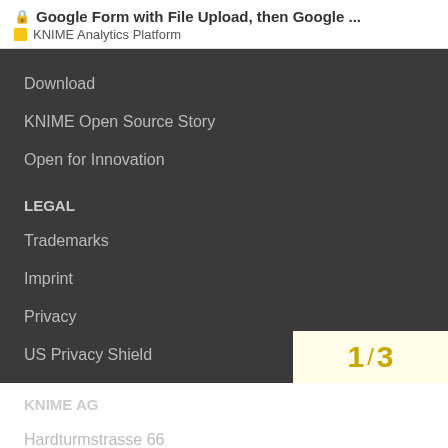Google Form with File Upload, then Google ...
KNIME Analytics Platform
Download
KNIME Open Source Story
Open for Innovation
LEGAL
Trademarks
Imprint
Privacy
US Privacy Shield
KNIME AG
Hardturmstrasse 66
1 / 3